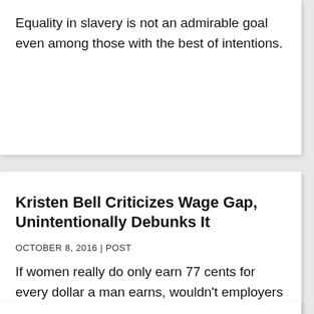Equality in slavery is not an admirable goal even among those with the best of intentions.
Kristen Bell Criticizes Wage Gap, Unintentionally Debunks It
OCTOBER 8, 2016 | POST
If women really do only earn 77 cents for every dollar a man earns, wouldn’t employers hire women exclusively to save on labor costs?